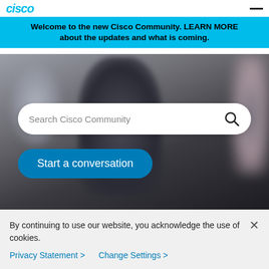cisco
Welcome to the new Cisco Community. LEARN MORE about the updates and what is coming.
[Figure (photo): Blurred photo background showing a person's silhouette with out-of-focus background]
Search Cisco Community
Start a conversation
By continuing to use our website, you acknowledge the use of cookies.
Privacy Statement > Change Settings >